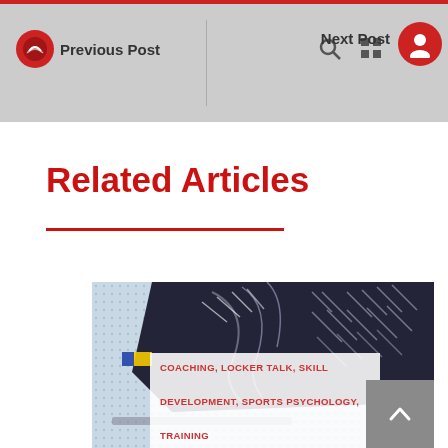Previous Post | Next Post
Related Articles
[Figure (photo): Close-up photo of ice hockey skate boot showing black leather and laces with yellow/blue accent, on dotted blue background]
COACHING, LOCKER TALK, SKILL DEVELOPMENT, SPORTS PSYCHOLOGY, TRAINING